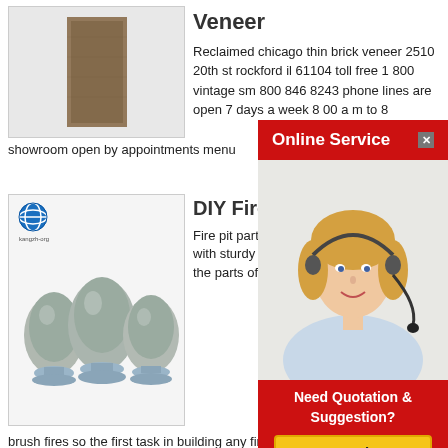[Figure (photo): Photo of a reclaimed chicago thin brick veneer piece, brown/grey colored rectangular tile]
Veneer
Reclaimed chicago thin brick veneer 2510 20th st rockford il 61104 toll free 1 800 vintage sm 800 846 8243 phone lines are open 7 days a week 8 00 a m to 8...
showroom open by appointments menu
[Figure (photo): Photo of three grey glass or stone egg-shaped decorative balls on pedestals, with a globe logo and 'kangzh-org' watermark]
DIY Fire Pit In
Fire pit parts an ove nemec a built in fire with sturdy walls of flames and heat tha the parts of the cou
brush fires so the first task in building any fire pit is che flames
[Figure (photo): Online Service popup overlay with a woman wearing a headset, red header saying Online Service, close button, Need Quotation & Suggestion section with Free Chat button]
Get Price
Get a Quote
Chat Now